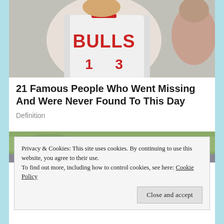[Figure (photo): Person wearing a Chicago Bulls white NBA jersey, upper body visible, another person partially visible on the right side]
21 Famous People Who Went Missing And Were Never Found To This Day
Definition
[Figure (photo): Outdoor scene with green foliage and natural background, partially visible]
Privacy & Cookies: This site uses cookies. By continuing to use this website, you agree to their use.
To find out more, including how to control cookies, see here: Cookie Policy
Close and accept